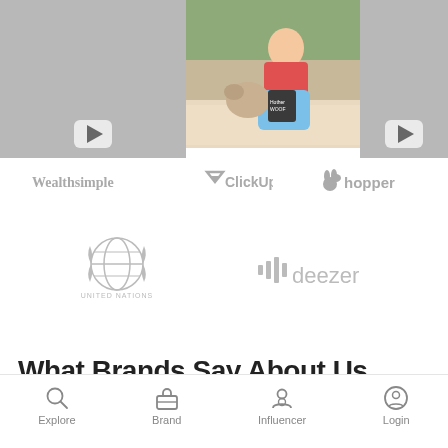[Figure (photo): Three panels: left video thumbnail (gray with play button), center photo of woman with dog holding a basket bag outdoors, right partial video thumbnail (gray with play button)]
[Figure (logo): Brand logos row: Wealthsimple, ClickUp, hopper]
[Figure (logo): Brand logos row: United Nations, deezer]
What Brands Say About Us
[Figure (infographic): Bottom navigation bar with icons: Explore (search/magnifier), Brand (briefcase), Influencer (person), Login (user circle)]